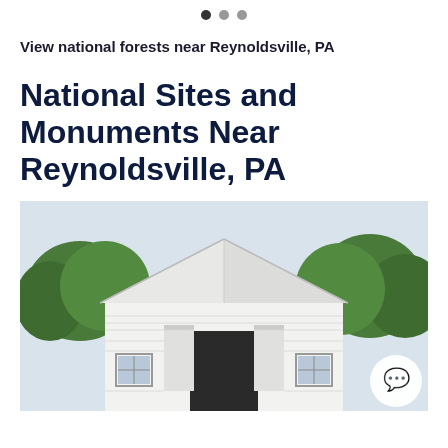[Figure (other): Pagination indicator with three dots, first dot active/filled dark]
View national forests near Reynoldsville, PA
National Sites and Monuments Near Reynoldsville, PA
[Figure (photo): Photo of a white barn building with a peaked roof and open center doorway, surrounded by green trees, overcast sky. A chat button icon overlays the bottom right of the image.]